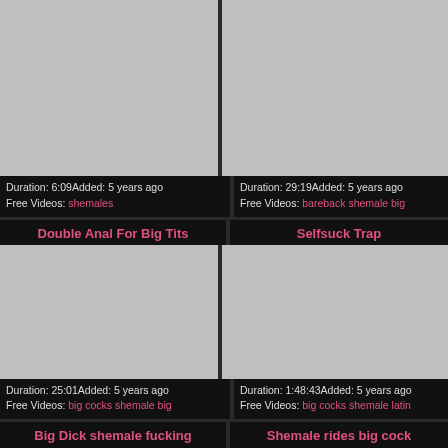[Figure (screenshot): Video thumbnail placeholder top-left, gray rectangle]
Duration: 6:09Added: 5 years ago
Free Videos: shemales
[Figure (screenshot): Video thumbnail placeholder top-right, gray rectangle]
Duration: 29:19Added: 5 years ago
Free Videos: bareback shemale big
Double Anal For Big Tits
[Figure (screenshot): Video thumbnail placeholder middle-left, gray rectangle]
Duration: 25:01Added: 5 years ago
Free Videos: big cocks shemale big
Selfsuck Trap
[Figure (screenshot): Video thumbnail placeholder middle-right, gray rectangle]
Duration: 1:48:43Added: 5 years ago
Free Videos: big cocks shemale latin
Big Dick shemale fucking
Shemale rides big cock